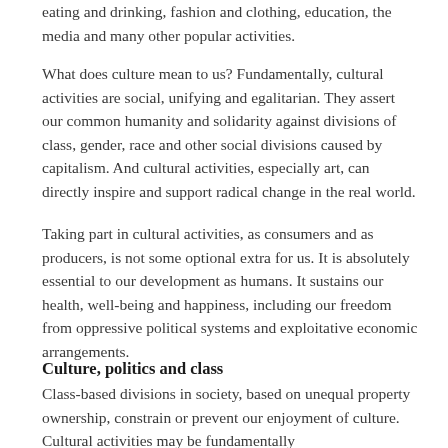eating and drinking, fashion and clothing, education, the media and many other popular activities.
What does culture mean to us? Fundamentally, cultural activities are social, unifying and egalitarian. They assert our common humanity and solidarity against divisions of class, gender, race and other social divisions caused by capitalism. And cultural activities, especially art, can directly inspire and support radical change in the real world.
Taking part in cultural activities, as consumers and as producers, is not some optional extra for us. It is absolutely essential to our development as humans. It sustains our health, well-being and happiness, including our freedom from oppressive political systems and exploitative economic arrangements.
Culture, politics and class
Class-based divisions in society, based on unequal property ownership, constrain or prevent our enjoyment of culture. Cultural activities may be fundamentally